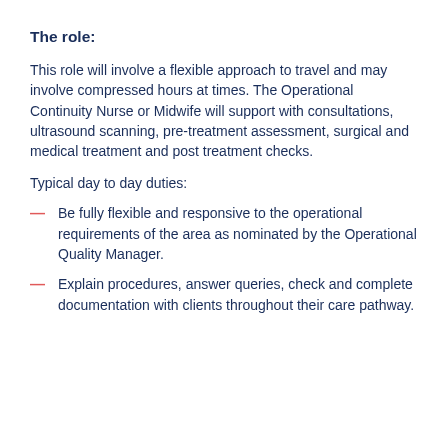The role:
This role will involve a flexible approach to travel and may involve compressed hours at times. The Operational Continuity Nurse or Midwife will support with consultations, ultrasound scanning, pre-treatment assessment, surgical and medical treatment and post treatment checks.
Typical day to day duties:
Be fully flexible and responsive to the operational requirements of the area as nominated by the Operational Quality Manager.
Explain procedures, answer queries, check and complete documentation with clients throughout their care pathway.